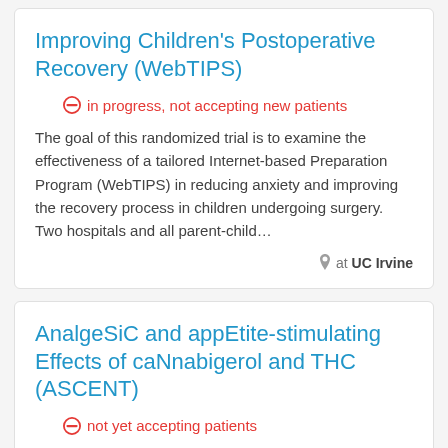Improving Children's Postoperative Recovery (WebTIPS)
in progress, not accepting new patients
The goal of this randomized trial is to examine the effectiveness of a tailored Internet-based Preparation Program (WebTIPS) in reducing anxiety and improving the recovery process in children undergoing surgery. Two hospitals and all parent-child…
at UC Irvine
AnalgeSiC and appEtite-stimulating Effects of caNnabigerol and THC (ASCENT)
not yet accepting patients
This study will examine the analgesic appetite...